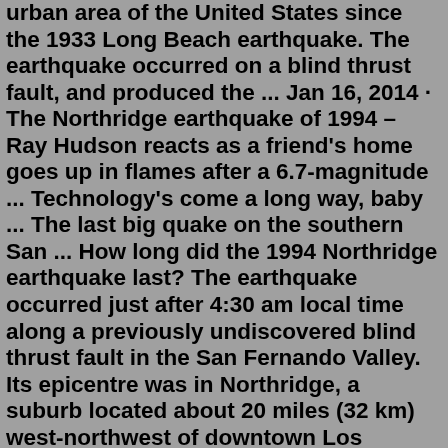urban area of the United States since the 1933 Long Beach earthquake. The earthquake occurred on a blind thrust fault, and produced the ... Jan 16, 2014 · The Northridge earthquake of 1994 – Ray Hudson reacts as a friend's home goes up in flames after a 6.7-magnitude ... Technology's come a long way, baby ... The last big quake on the southern San ... How long did the 1994 Northridge earthquake last? The earthquake occurred just after 4:30 am local time along a previously undiscovered blind thrust fault in the San Fernando Valley. Its epicentre was in Northridge, a suburb located about 20 miles (32 km) west-northwest of downtown Los Angeles.Jan 17, 2020 · According to a February 1994 article in the Los Angeles Times, six of 80 joints were damaged, and one cracked in two. One steel column cracked. The Northridge earthquake showed the vulnerability ... Jul 29, 2014 · The 2006 NRC report observed that for the 1994 Northridge, California earthquake, direct losses were estimated at between $45 billion to $55 billion. Had this event occurred during working hours